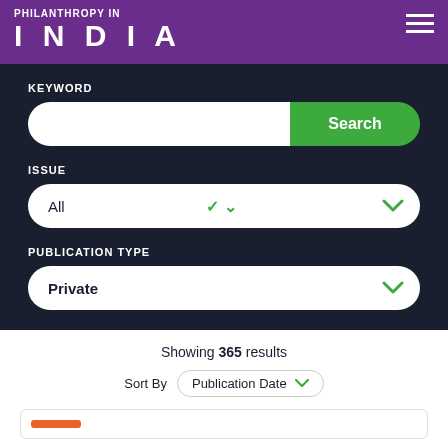PHILANTHROPY IN INDIA
KEYWORD
[Figure (screenshot): Search input field with green Search button]
ISSUE
[Figure (screenshot): Dropdown selector showing 'All' with green chevron]
PUBLICATION TYPE
[Figure (screenshot): Dropdown selector showing 'Private' with green chevron]
Showing 365 results
Sort By  Publication Date
[Figure (screenshot): Partial card with orange bar visible at bottom]